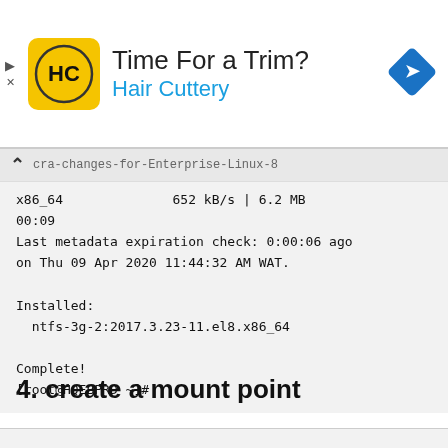[Figure (screenshot): Advertisement banner for Hair Cuttery with logo, title 'Time For a Trim?', subtitle 'Hair Cuttery', and a blue navigation diamond icon on the right. Close/play controls on the left.]
x86_64   652 kB/s | 6.2 MB
00:09
Last metadata expiration check: 0:00:06 ago
on Thu 09 Apr 2020 11:44:32 AM WAT.

Installed:
  ntfs-3g-2:2017.3.23-11.el8.x86_64

Complete!
[root@HQEBPRD ~]#
4. create a mount point